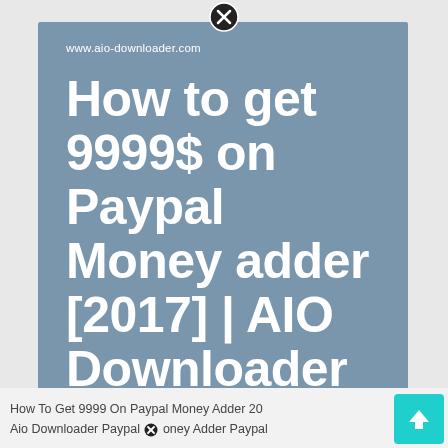[Figure (screenshot): Screenshot of a webpage thumbnail showing 'How to get 9999$ on Paypal Money adder [2017] | AIO Downloader' on a blue-grey background with URL www.aio-downloader.com]
How To Get 9999 On Paypal Money Adder 20[17] | Aio Downloader Paypal Money Adder Paypal